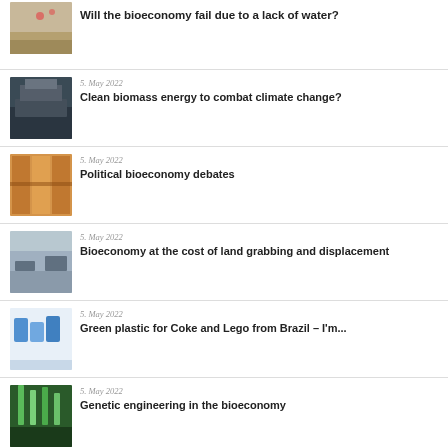Will the bioeconomy fail due to a lack of water?
5. May 2022 — Clean biomass energy to combat climate change?
5. May 2022 — Political bioeconomy debates
5. May 2022 — Bioeconomy at the cost of land grabbing and displacement
5. May 2022 — Green plastic for Coke and Lego from Brazil – I'm...
5. May 2022 — Genetic engineering in the bioeconomy